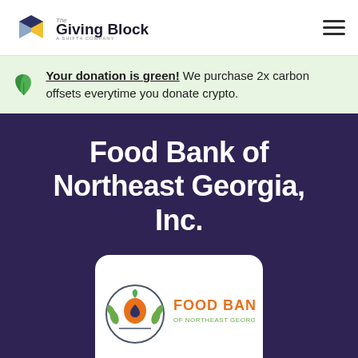The Giving Block - A Shift4 Company
Your donation is green! We purchase 2x carbon offsets everytime you donate crypto.
Food Bank of Northeast Georgia, Inc.
[Figure (logo): Food Bank of Northeast Georgia logo: circular emblem with orange and green fruit/leaf design, with text 'FOOD BANK OF NORTHEAST GEORGIA' in orange and gray]